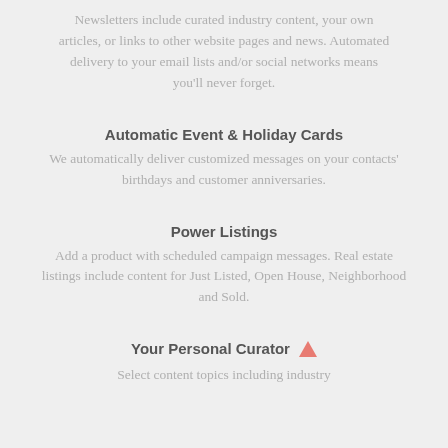Newsletters include curated industry content, your own articles, or links to other website pages and news. Automated delivery to your email lists and/or social networks means you'll never forget.
Automatic Event & Holiday Cards
We automatically deliver customized messages on your contacts' birthdays and customer anniversaries.
Power Listings
Add a product with scheduled campaign messages. Real estate listings include content for Just Listed, Open House, Neighborhood and Sold.
Your Personal Curator
Select content topics including industry